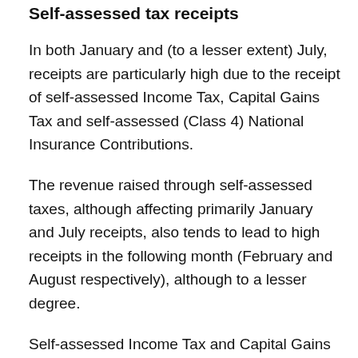Self-assessed tax receipts
In both January and (to a lesser extent) July, receipts are particularly high due to the receipt of self-assessed Income Tax, Capital Gains Tax and self-assessed (Class 4) National Insurance Contributions.
The revenue raised through self-assessed taxes, although affecting primarily January and July receipts, also tends to lead to high receipts in the following month (February and August respectively), although to a lesser degree.
Self-assessed Income Tax and Capital Gains Tax receipts decreased by £0.6 billion to £6.2 billion in February 2018 compared with February 2017.